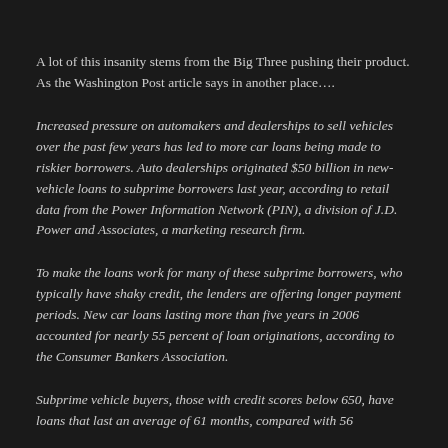A lot of this insanity stems from the Big Three pushing their product. As the Washington Post article says in another place….
Increased pressure on automakers and dealerships to sell vehicles over the past few years has led to more car loans being made to riskier borrowers. Auto dealerships originated $50 billion in new-vehicle loans to subprime borrowers last year, according to retail data from the Power Information Network (PIN), a division of J.D. Power and Associates, a marketing research firm.
To make the loans work for many of these subprime borrowers, who typically have shaky credit, the lenders are offering longer payment periods. New car loans lasting more than five years in 2006 accounted for nearly 55 percent of loan originations, according to the Consumer Bankers Association.
Subprime vehicle buyers, those with credit scores below 650, have loans that last an average of 61 months, compared with 56